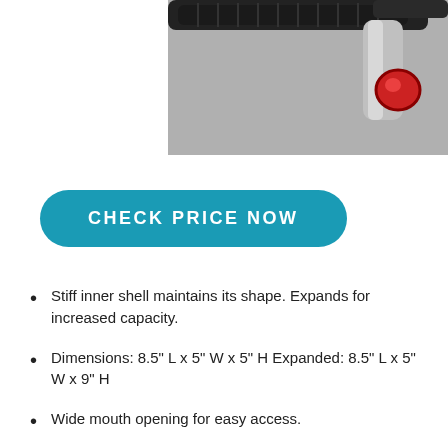[Figure (photo): Close-up photo of bicycle handlebar area showing black grips, a red lens component, and silver metal parts]
CHECK PRICE NOW
Stiff inner shell maintains its shape. Expands for increased capacity.
Dimensions: 8.5" L x 5" W x 5" H Expanded: 8.5" L x 5" W x 9" H
Wide mouth opening for easy access.